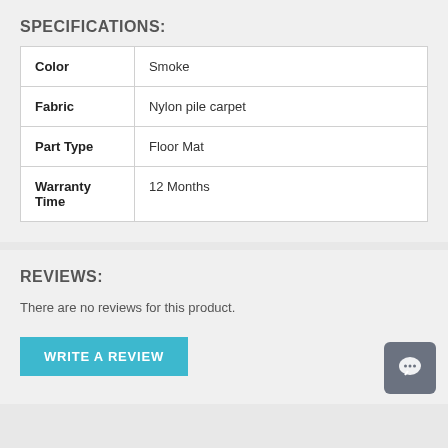SPECIFICATIONS:
| Color | Smoke |
| Fabric | Nylon pile carpet |
| Part Type | Floor Mat |
| Warranty Time | 12 Months |
REVIEWS:
There are no reviews for this product.
WRITE A REVIEW